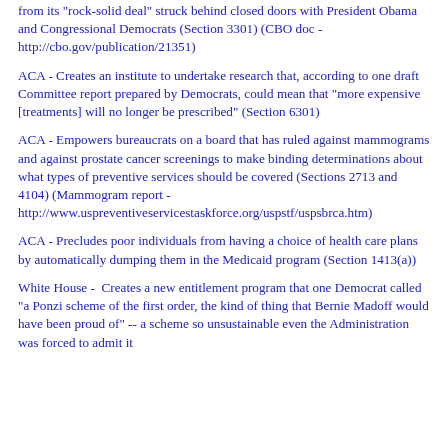from its "rock-solid deal" struck behind closed doors with President Obama and Congressional Democrats (Section 3301) (CBO doc - http://cbo.gov/publication/21351)
ACA - Creates an institute to undertake research that, according to one draft Committee report prepared by Democrats, could mean that "more expensive [treatments] will no longer be prescribed" (Section 6301)
ACA - Empowers bureaucrats on a board that has ruled against mammograms and against prostate cancer screenings to make binding determinations about what types of preventive services should be covered (Sections 2713 and 4104) (Mammogram report - http://www.uspreventiveservicestaskforce.org/uspstf/uspsbrca.htm)
ACA - Precludes poor individuals from having a choice of health care plans by automatically dumping them in the Medicaid program (Section 1413(a))
White House -  Creates a new entitlement program that one Democrat called "a Ponzi scheme of the first order, the kind of thing that Bernie Madoff would have been proud of" -- a scheme so unsustainable even the Administration was forced to admit it